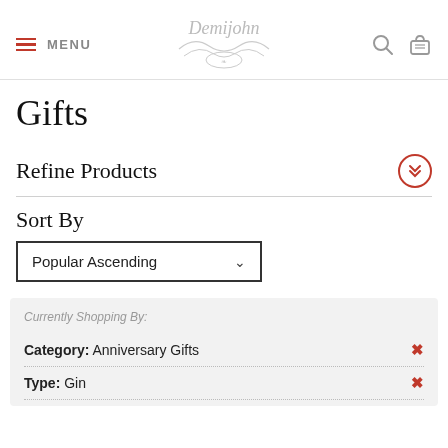MENU | Demijohn logo | search icon | cart icon
Gifts
Refine Products
Sort By
Popular Ascending
Currently Shopping By:
Category: Anniversary Gifts
Type: Gin